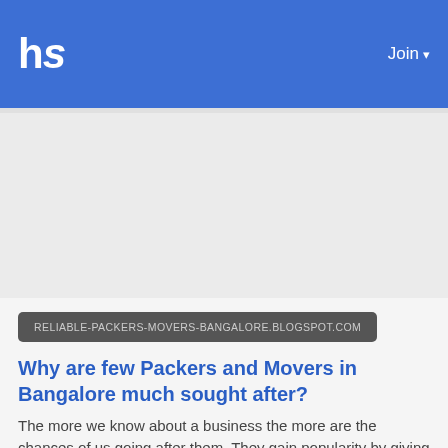hs   Join
[Figure (other): Gray advertisement placeholder area]
RELIABLE-PACKERS-MOVERS-BANGALORE.BLOGSPOT.COM
Why are few Packers and Movers in Bangalore much sought after?
The more we know about a business the more are the chances of us going after them. They gain popularity by giving successful results every t...